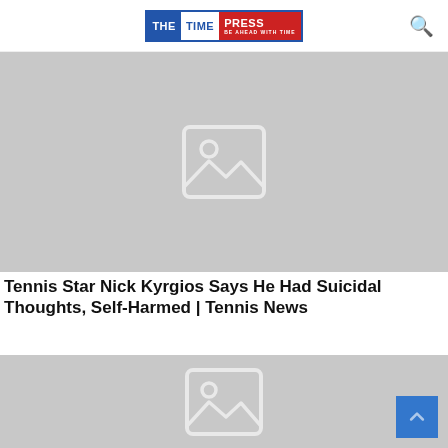THE TIME PRESS — BE AHEAD WITH TIME
[Figure (photo): Placeholder image with mountain/photo icon on grey background]
Tennis Star Nick Kyrgios Says He Had Suicidal Thoughts, Self-Harmed | Tennis News
[Figure (photo): Placeholder image with mountain/photo icon on grey background (partial, bottom of page)]